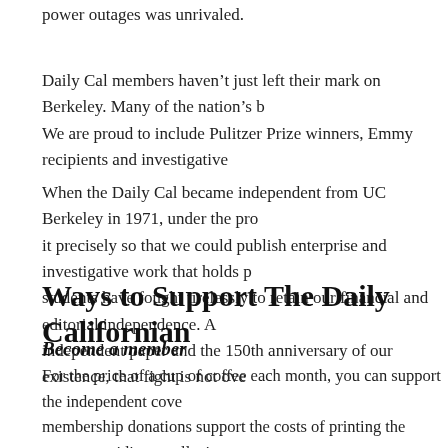power outages was unrivaled.
Daily Cal members haven’t just left their mark on Berkeley. Many of the nation’s b… We are proud to include Pulitzer Prize winners, Emmy recipients and investigative…
When the Daily Cal became independent from UC Berkeley in 1971, under the pro… it precisely so that we could publish enterprise and investigative work that holds p… students have fought tirelessly to retain our financial and editorial independence. A… independent paper and the 150th anniversary of our existence, that fight is not ove…
Ways to Support The Daily Californian
Become a member
For the price of a cup of coffee each month, you can support the independent cove… membership donations support the costs of printing the paper, providing small stip… updating our technology needs. To help with a monthly donation, click here.
Donate Now
Make a gift